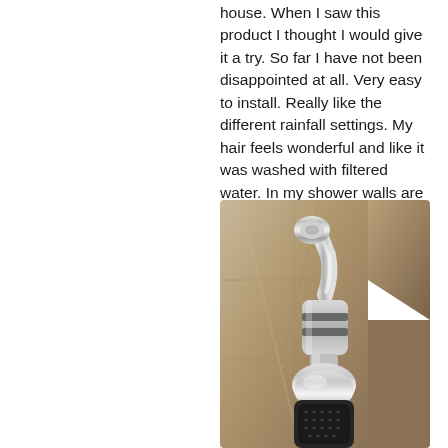house. When I saw this product I thought I would give it a try. So far I have not been disappointed at all. Very easy to install. Really like the different rainfall settings. My hair feels wonderful and like it was washed with filtered water. In my shower walls are staying clean of calcium residue. I am very happy with thi
Read More
[Figure (photo): Close-up photo of a chrome shower head with a filter attached, mounted on a shower arm, with marble tile wall in the background]